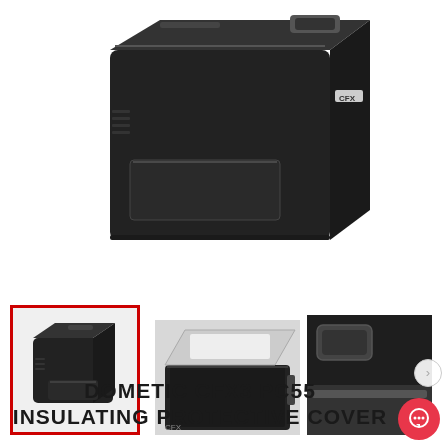[Figure (photo): Main product image of a black Dometic CFX3 PC55 insulating protective cover for a portable cooler/fridge, shown from a three-quarter front angle. The cover is made of black fabric and wraps around the cooler, with a zipper at the top and 'CFX' branding visible on the side.]
[Figure (photo): Thumbnail 1 (selected, red border): Same black protective cover shown from front-right angle, compact view.]
[Figure (photo): Thumbnail 2: Black protective cover shown open/unzipped at the top, revealing the cooler lid inside.]
[Figure (photo): Thumbnail 3: Close-up of the corner/handle area of the black protective cover with hardware detail.]
DOMETIC CFX3 PC55 INSULATING PROTECTIVE COVER